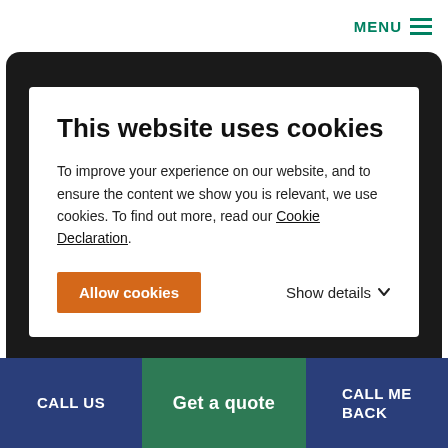MENU
This website uses cookies
To improve your experience on our website, and to ensure the content we show you is relevant, we use cookies. To find out more, read our Cookie Declaration.
Allow cookies   Show details
Best places to live in South Africa
CALL US
Get a quote
CALL ME BACK